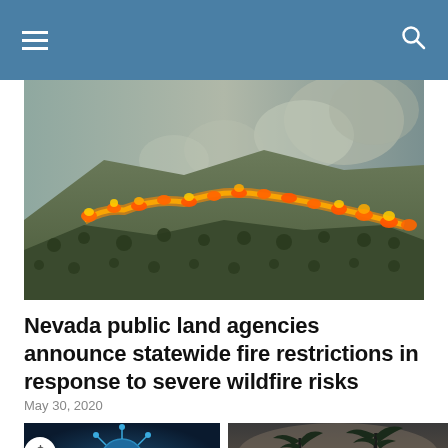Navigation bar with menu and search icons
[Figure (photo): Aerial view of a wildfire burning across a hillside, showing a line of orange flames and smoke along a scrubby desert slope]
Nevada public land agencies announce statewide fire restrictions in response to severe wildfire risks
May 30, 2020
[Figure (photo): Close-up of a coronavirus particle on blue background]
[Figure (photo): Silhouette of palm trees against a smoky sky]